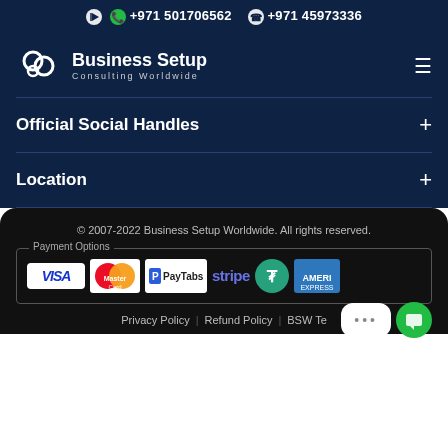+971 501706562  +971 45973336
[Figure (logo): CB Business Setup Consulting Worldwide logo with hamburger menu icon]
Official Social Handles
Location
© 2007-2022 Business Setup Worldwide. All rights reserved.
[Figure (infographic): Payment Options box showing VISA, MasterCard, PayTabs, Stripe, Tether, American Express logos]
Privacy Policy | Refund Policy | BSW Te...